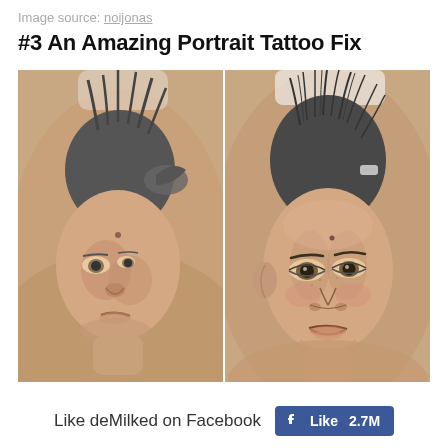Image source: noijonas
#3 An Amazing Portrait Tattoo Fix
[Figure (photo): Side-by-side comparison of a portrait tattoo before and after fix. Left: a poorly rendered baby face tattoo on skin. Right: a highly detailed, realistic portrait tattoo of a young child's face on skin, showing dramatic improvement in quality.]
Like deMilked on Facebook  👍 Like 2.7M